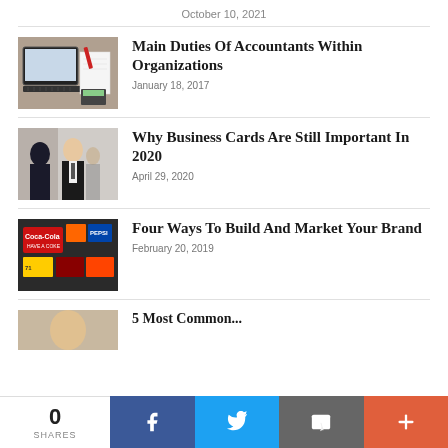October 10, 2021
Main Duties Of Accountants Within Organizations
January 18, 2017
[Figure (photo): Laptop, notebook, pen, and calculator on desk]
Why Business Cards Are Still Important In 2020
April 29, 2020
[Figure (photo): Two people in business attire exchanging cards]
Four Ways To Build And Market Your Brand
February 20, 2019
[Figure (photo): Coca-Cola and other brand signs on a wall]
5 Most Common...
[Figure (photo): Partial photo of person]